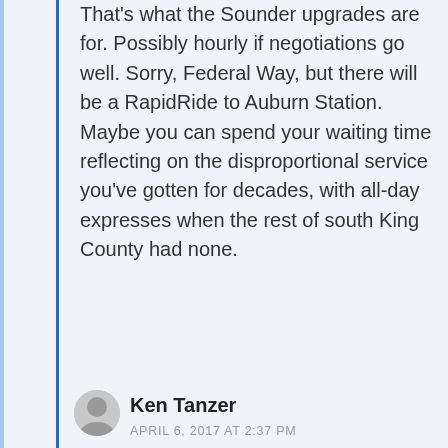That's what the Sounder upgrades are for. Possibly hourly if negotiations go well. Sorry, Federal Way, but there will be a RapidRide to Auburn Station. Maybe you can spend your waiting time reflecting on the disproportional service you've gotten for decades, with all-day expresses when the rest of south King County had none.
Ken Tanzer
APRIL 6, 2017 AT 2:37 PM
>>Thanks, Ken. That's not surprising given the glacial pace of transit